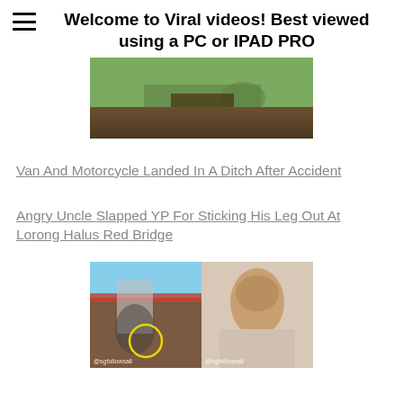Welcome to Viral videos! Best viewed using a PC or IPAD PRO
[Figure (photo): Outdoor scene showing green grass and a dirt path or ditch, partially obscured.]
Van And Motorcycle Landed In A Ditch After Accident
Angry Uncle Slapped YP For Sticking His Leg Out At Lorong Halus Red Bridge
[Figure (photo): Split image: left side shows people on a red bridge structure with a yellow circle highlight, watermarked sgfollowsall; right side shows a man's face, watermarked sgfollowsall.]